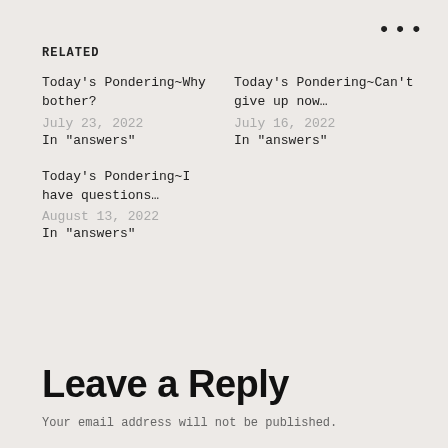RELATED
Today's Pondering~Why bother?
July 23, 2022
In "answers"
Today's Pondering~Can't give up now…
July 16, 2022
In "answers"
Today's Pondering~I have questions…
August 13, 2022
In "answers"
Leave a Reply
Your email address will not be published.